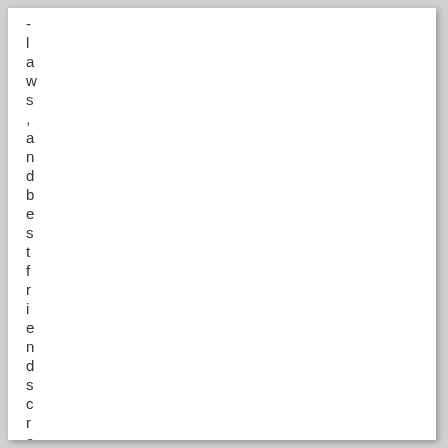-
l
a
w
s
,
a
n
d
b
e
s
t
f
r
i
e
n
d
s
c
r
a
z
y